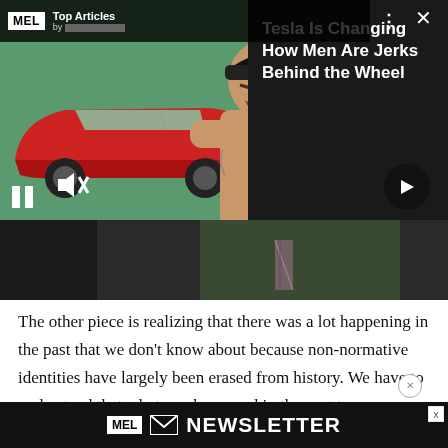[Figure (screenshot): MEL Magazine video player overlay showing a shirtless muscular man with crossed arms and a red Tesla car on a teal/green background. Overlay includes MEL Top Articles bar, pause button, mute button, and arrow navigation. Dark panel on right shows article title.]
Tesla Is Changing How Men Are Jerks Behind the Wheel
[Figure (screenshot): Lower portion of video/image showing a man in green jacket with plaid tie, cropped view.]
The other piece is realizing that there was a lot happening in the past that we don't know about because non-normative identities have largely been erased from history. We have to understand that whatever happened in the past to marginalized groups that's now under our radar is
[Figure (screenshot): MEL Newsletter signup bar at bottom of page with MEL logo and envelope icon.]